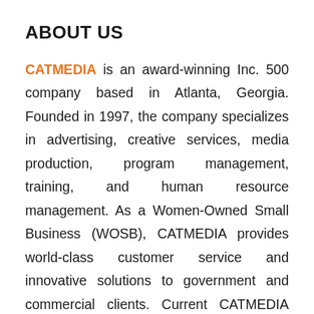ABOUT US
CATMEDIA is an award-winning Inc. 500 company based in Atlanta, Georgia. Founded in 1997, the company specializes in advertising, creative services, media production, program management, training, and human resource management. As a Women-Owned Small Business (WOSB), CATMEDIA provides world-class customer service and innovative solutions to government and commercial clients. Current CATMEDIA clients include Centers for Disease Control and Prevention (CDC), Federal